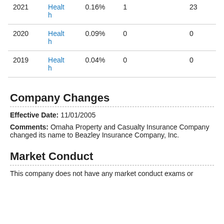| Year | Type | Pct | Num1 |  | Num2 |
| --- | --- | --- | --- | --- | --- |
| 2021 | Health | 0.16% | 1 |  | 23 |
| 2020 | Health | 0.09% | 0 |  | 0 |
| 2019 | Health | 0.04% | 0 |  | 0 |
Company Changes
Effective Date: 11/01/2005
Comments: Omaha Property and Casualty Insurance Company changed its name to Beazley Insurance Company, Inc.
Market Conduct
This company does not have any market conduct exams or